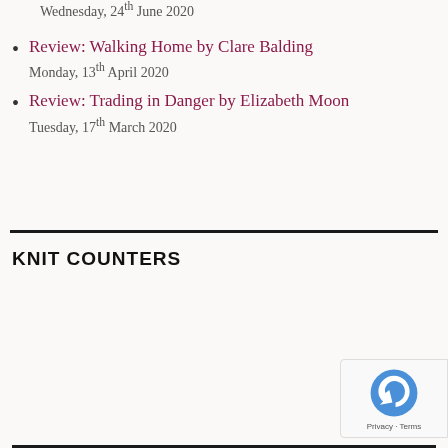Wednesday, 24th June 2020
Review: Walking Home by Clare Balding
Monday, 13th April 2020
Review: Trading in Danger by Elizabeth Moon
Tuesday, 17th March 2020
KNIT COUNTERS